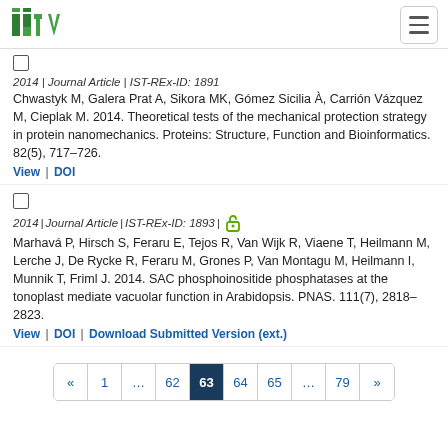ISTA logo and navigation
2014 | Journal Article | IST-REx-ID: 1891
Chwastyk M, Galera Prat A, Sikora MK, Gómez Sicilia À, Carrión Vázquez M, Cieplak M. 2014. Theoretical tests of the mechanical protection strategy in protein nanomechanics. Proteins: Structure, Function and Bioinformatics. 82(5), 717–726.
View | DOI
2014 | Journal Article | IST-REx-ID: 1893 | [open access]
Marhavá P, Hirsch S, Feraru E, Tejos R, Van Wijk R, Viaene T, Heilmann M, Lerche J, De Rycke R, Feraru M, Grones P, Van Montagu M, Heilmann I, Munnik T, Friml J. 2014. SAC phosphoinositide phosphatases at the tonoplast mediate vacuolar function in Arabidopsis. PNAS. 111(7), 2818–2823.
View | DOI | Download Submitted Version (ext.)
« 1 … 62 63 64 65 … 79 »